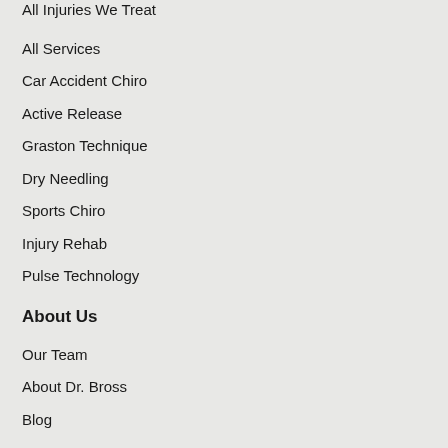All Injuries We Treat
All Services
Car Accident Chiro
Active Release
Graston Technique
Dry Needling
Sports Chiro
Injury Rehab
Pulse Technology
About Us
Our Team
About Dr. Bross
Blog